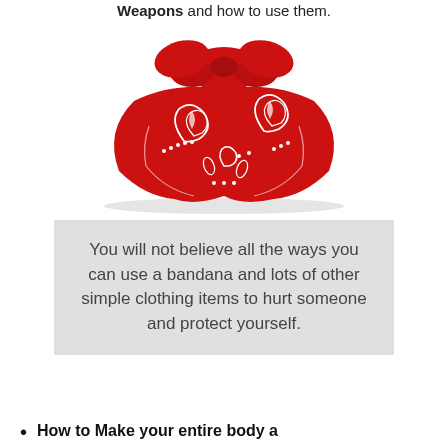Weapons and how to use them.
[Figure (photo): A red paisley bandana tied in a knot, viewed from above on a white background.]
You will not believe all the ways you can use a bandana and lots of other simple clothing items to hurt someone and protect yourself.
How to Make your entire body a